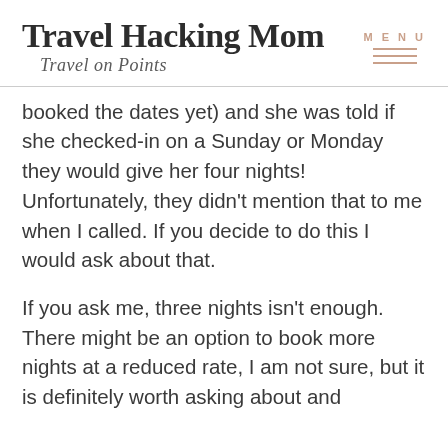Travel Hacking Mom — Travel on Points | MENU
booked the dates yet) and she was told if she checked-in on a Sunday or Monday they would give her four nights! Unfortunately, they didn't mention that to me when I called. If you decide to do this I would ask about that.
If you ask me, three nights isn't enough. There might be an option to book more nights at a reduced rate, I am not sure, but it is definitely worth asking about and